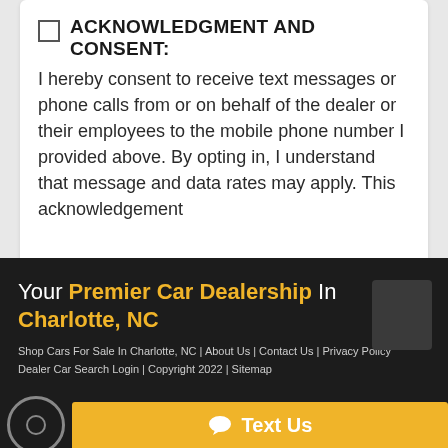ACKNOWLEDGMENT AND CONSENT: I hereby consent to receive text messages or phone calls from or on behalf of the dealer or their employees to the mobile phone number I provided above. By opting in, I understand that message and data rates may apply. This acknowledgement...
Send Inquiry
Your Premier Car Dealership In Charlotte, NC
Shop Cars For Sale In Charlotte, NC | About Us | Contact Us | Privacy Policy Dealer Car Search Login | Copyright 2022 | Sitemap
Text Us